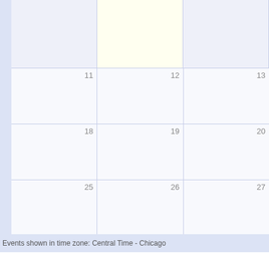[Figure (other): Partial monthly calendar grid showing rows of days 11-13, 18-20, 25-27 with a highlighted (yellow) cell in the top partial row for day 12. Left sidebar is light blue. Grid cells are light lavender/white.]
Events shown in time zone: Central Time - Chicago